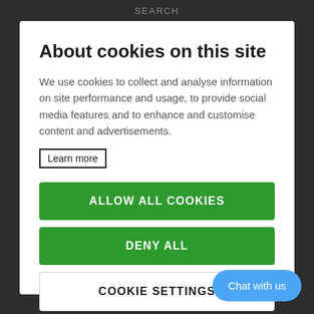SEARCH
About cookies on this site
We use cookies to collect and analyse information on site performance and usage, to provide social media features and to enhance and customise content and advertisements.
Learn more
ALLOW ALL COOKIES
DENY ALL
COOKIE SETTINGS
Chat with us